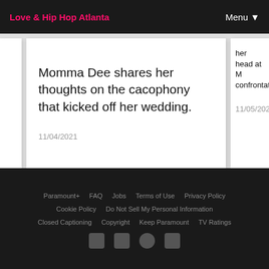Love & Hip Hop Atlanta | Menu
Momma Dee shares her thoughts on the cacophony that kicked off her wedding.
11/04/2021
her head at M confrontation
11/05/2021
Paramount+ | FAQ | Jobs | Terms of Use | Privacy Policy | Cookie Policy | Do Not Sell My Personal Information | Closed Captioning | Copyright | Keep Paramount | TV Ratings